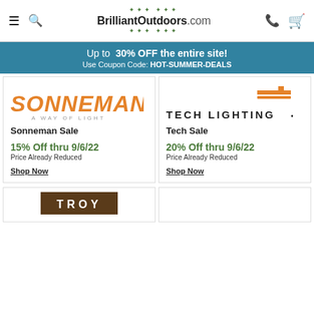BrilliantOutdoors.com
Up to 30% OFF the entire site! Use Coupon Code: HOT-SUMMER-DEALS
[Figure (logo): Sonneman – A Way of Light brand logo in orange italic text]
Sonneman Sale
15% Off thru 9/6/22
Price Already Reduced
Shop Now
[Figure (logo): Tech Lighting brand logo with orange geometric icon and bold black text]
Tech Sale
20% Off thru 9/6/22
Price Already Reduced
Shop Now
[Figure (logo): Troy brand logo, dark brown background with white letters]